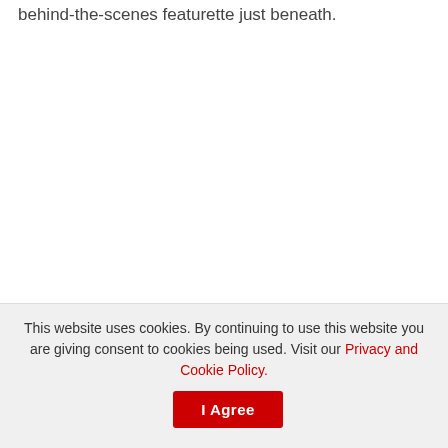behind-the-scenes featurette just beneath.
This website uses cookies. By continuing to use this website you are giving consent to cookies being used. Visit our Privacy and Cookie Policy.
I Agree